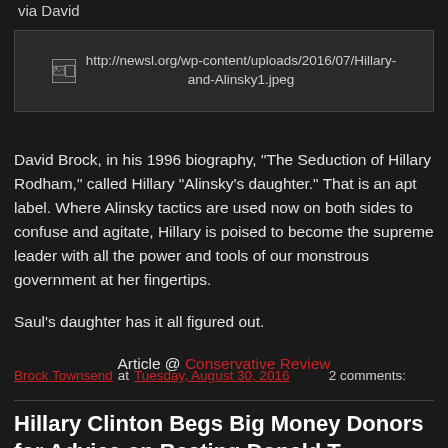via David
[Figure (screenshot): Broken image placeholder showing URL: http://newsl.org/wp-content/uploads/2016/07/Hillary-and-Alinsky1.jpeg]
David Brock, in his 1996 biography, "The Seduction of Hillary Rodham," called Hillary "Alinsky's daughter." That is an apt label. Where Alinsky tactics are used now on both sides to confuse and agitate, Hillary is poised to become the supreme leader with all the power and tools of our monstrous government at her fingertips.

Saul's daughter has it all figured out.

Article @ Conservative Review
Brock Townsend at Tuesday, August 30, 2016   2 comments:
Hillary Clinton Begs Big Money Donors for Advice on Beating Donald T...